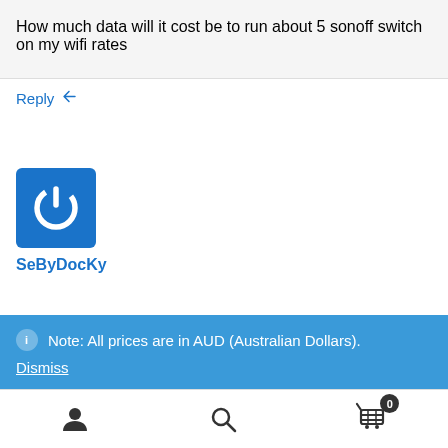How much data will it cost be to run about 5 sonoff switch on my wifi rates
Reply
[Figure (logo): Blue square icon with white power button symbol]
SeByDocKy
Note: All prices are in AUD (Australian Dollars).
Dismiss
User icon, Search icon, Cart icon with badge 0